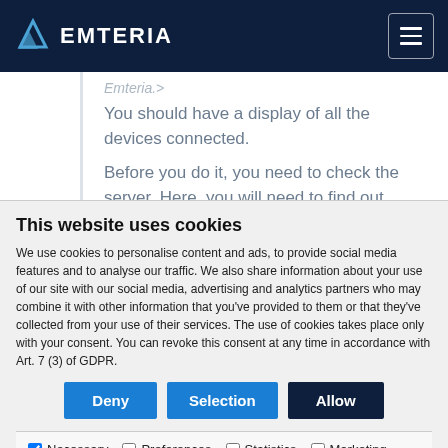[Figure (screenshot): Emteria website navigation bar with logo on left and hamburger menu icon on right, dark navy background]
You should have a display of all the devices connected.
Before you do it, you need to check the server. Here, you will need to find out
This website uses cookies
We use cookies to personalise content and ads, to provide social media features and to analyse our traffic. We also share information about your use of our site with our social media, advertising and analytics partners who may combine it with other information that you've provided to them or that they've collected from your use of their services. The use of cookies takes place only with your consent. You can revoke this consent at any time in accordance with Art. 7 (3) of GDPR.
Deny | Selection | Allow
☑ Necessary  ☐ Preferences  ☐ Statistics  ☐ Marketing  Show details ▾